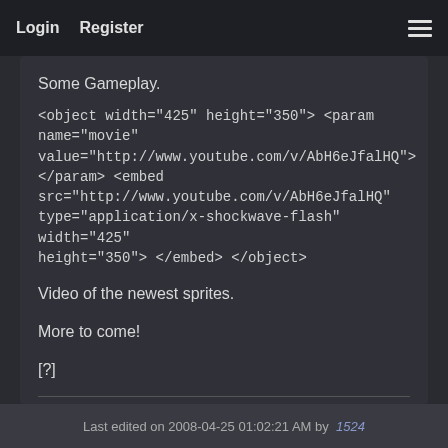Login   Register
Some Gameplay.
<object width="425" height="350"> <param name="movie" value="http://www.youtube.com/v/AbH6eJfalHQ"> </param> <embed src="http://www.youtube.com/v/AbH6eJfalHQ" type="application/x-shockwave-flash" width="425" height="350"> </embed> </object>
Video of the newest sprites.
More to come!
[?]
I've removed my NoFades patch until I can find the brightness code for Star Road warps.
Last edited on 2008-04-25 01:02:21 AM by 1524